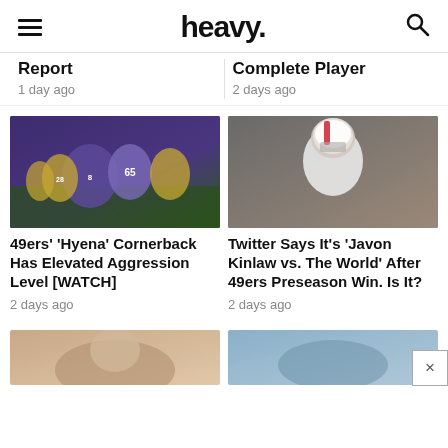heavy.
Report
1 day ago
Complete Player
2 days ago
[Figure (photo): Football game action shot: Minnesota Vikings vs San Francisco 49ers, players in purple and gold uniforms on field]
49ers’ ‘Hyena’ Cornerback Has Elevated Aggression Level [WATCH]
2 days ago
[Figure (photo): San Francisco 49ers player Javon Kinlaw in white uniform and red/gold helmet, close-up portrait]
Twitter Says It’s ‘Javon Kinlaw vs. The World’ After 49ers Preseason Win. Is It?
2 days ago
[Figure (photo): Partially visible thumbnail at bottom left]
[Figure (photo): Partially visible thumbnail at bottom right]